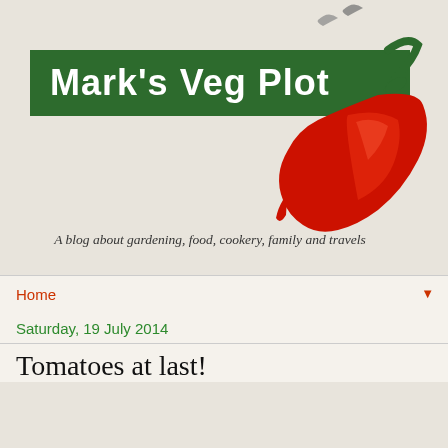[Figure (illustration): Blog header image showing a red chili pepper on a light beige background, with two small bird silhouettes at the top right. A dark green banner with white bold text reads 'Mark's Veg Plot'.]
A blog about gardening, food, cookery, family and travels
Home
Saturday, 19 July 2014
Tomatoes at last!